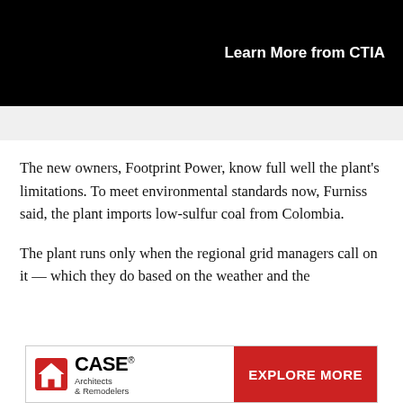Learn More from CTIA
The new owners, Footprint Power, know full well the plant's limitations. To meet environmental standards now, Furniss said, the plant imports low-sulfur coal from Colombia.
The plant runs only when the regional grid managers call on it — which they do based on the weather and the
[Figure (other): CASE Architects & Remodelers advertisement with red 'EXPLORE MORE' call-to-action button]